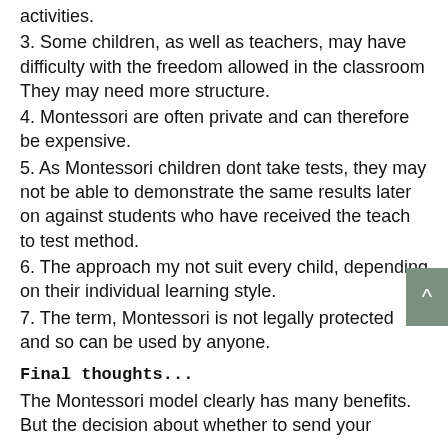activities.
3. Some children, as well as teachers, may have difficulty with the freedom allowed in the classroom They may need more structure.
4. Montessori are often private and can therefore be expensive.
5. As Montessori children dont take tests, they may not be able to demonstrate the same results later on against students who have received the teach to test method.
6. The approach my not suit every child, depending on their individual learning style.
7. The term, Montessori is not legally protected and so can be used by anyone.
Final thoughts...
The Montessori model clearly has many benefits. But the decision about whether to send your